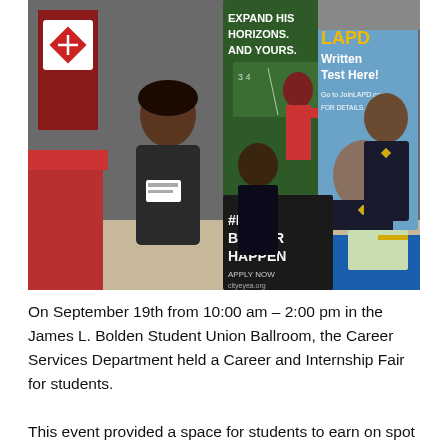[Figure (photo): A career fair scene showing recruiters and students at booths. Visible banners include one reading 'EXPAND HIS HORIZONS. AND YOURS.' with a person writing on a chalkboard, another reading '#MAKE BETTER HAPPEN APPLY NOW' and an LAPD banner reading 'Take the LAPD Written Test Here! Go to JoinLAPD.com FOR DETAILS.' Several people including LAPD officers and students are visible.]
On September 19th from 10:00 am – 2:00 pm in the James L. Bolden Student Union Ballroom, the Career Services Department held a Career and Internship Fair for students.
This event provided a space for students to earn on spot